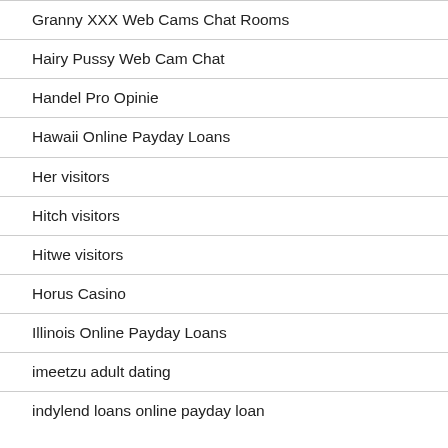Granny XXX Web Cams Chat Rooms
Hairy Pussy Web Cam Chat
Handel Pro Opinie
Hawaii Online Payday Loans
Her visitors
Hitch visitors
Hitwe visitors
Horus Casino
Illinois Online Payday Loans
imeetzu adult dating
indylend loans online payday loan